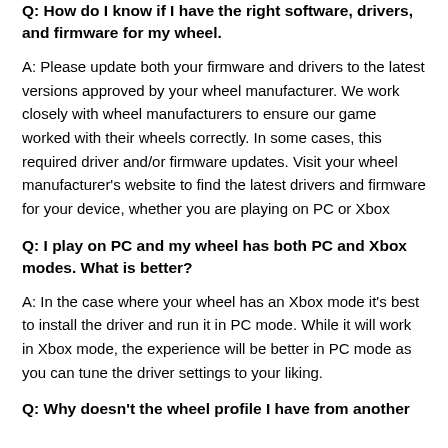Q: How do I know if I have the right software, drivers, and firmware for my wheel.
A: Please update both your firmware and drivers to the latest versions approved by your wheel manufacturer. We work closely with wheel manufacturers to ensure our game worked with their wheels correctly. In some cases, this required driver and/or firmware updates. Visit your wheel manufacturer's website to find the latest drivers and firmware for your device, whether you are playing on PC or Xbox
Q: I play on PC and my wheel has both PC and Xbox modes. What is better?
A: In the case where your wheel has an Xbox mode it's best to install the driver and run it in PC mode. While it will work in Xbox mode, the experience will be better in PC mode as you can tune the driver settings to your liking.
Q: Why doesn't the wheel profile I have from another